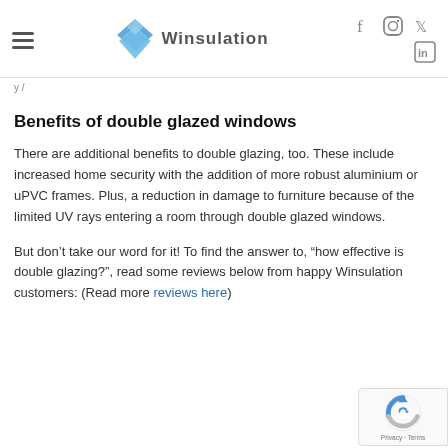Winsulation — navigation header with social icons
y / ...
Benefits of double glazed windows
There are additional benefits to double glazing, too. These include increased home security with the addition of more robust aluminium or uPVC frames. Plus, a reduction in damage to furniture because of the limited UV rays entering a room through double glazed windows.
But don’t take our word for it! To find the answer to, “how effective is double glazing?”, read some reviews below from happy Winsulation customers: (Read more reviews here)